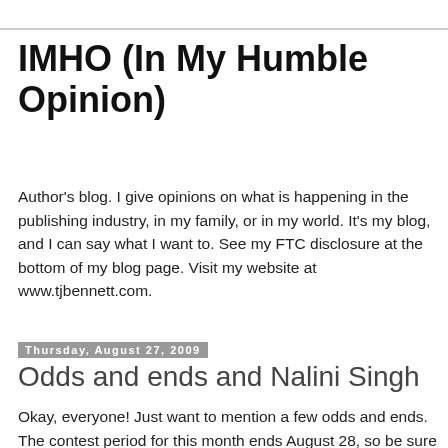IMHO (In My Humble Opinion)
Author's blog. I give opinions on what is happening in the publishing industry, in my family, or in my world. It's my blog, and I can say what I want to. See my FTC disclosure at the bottom of my blog page. Visit my website at www.tjbennett.com.
Thursday, August 27, 2009
Odds and ends and Nalini Singh
Okay, everyone! Just want to mention a few odds and ends. The contest period for this month ends August 28, so be sure to check out all of this month's guest posts and leave your comments for our authors if you would like a chance to win their autographed books as well as a copy of THE PROMISE (my historical romance) and a vintage-style nurse featuring